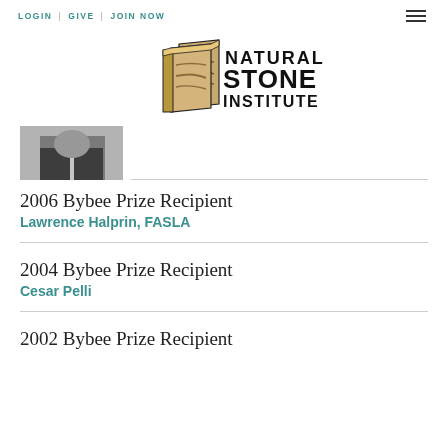LOGIN | GIVE | JOIN NOW
[Figure (logo): Natural Stone Institute logo with stylized stone book icon and text]
[Figure (photo): Black and white photo of a person in a dark jacket and white shirt]
2006 Bybee Prize Recipient
Lawrence Halprin, FASLA
2004 Bybee Prize Recipient
Cesar Pelli
2002 Bybee Prize Recipient